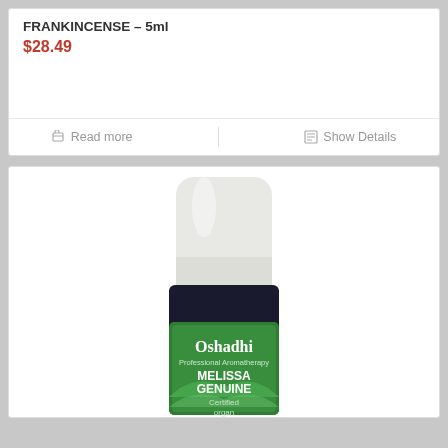FRANKINCENSE – 5ml
$28.49
Read more
Show Details
[Figure (photo): An Oshadhi Professional Aromatherapy essential oil bottle labeled MELISSA GENUINE, Certified Organic, with a white cap and dark bottle body featuring a green label.]